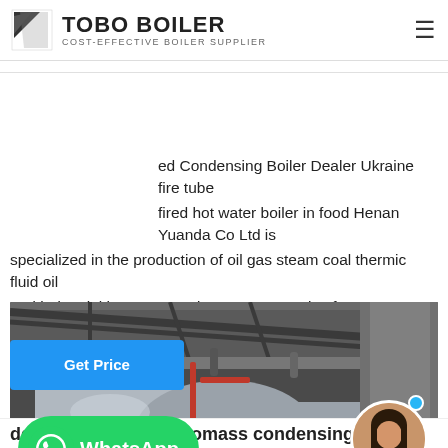TOBO BOILER — COST-EFFECTIVE BOILER SUPPLIER
ed Condensing Boiler Dealer Ukraine fire tube fired hot water boiler in food Henan Yuanda Co Ltd is specialized in the production of oil gas steam coal thermic fluid oil and industrial hot water and we can customize for you Welcome t…
[Figure (photo): Industrial boiler room with large cylindrical silver boiler tanks, pipes and ducts, inside a factory/warehouse setting. WhatsApp button overlay at bottom left, avatar circle at bottom right.]
dealer industrial 1t biomass condensing boiler